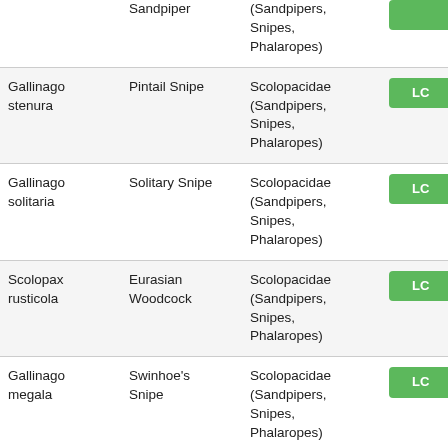| [Sandpiper] | Sandpiper | (Sandpipers, Snipes, Phalaropes) | LC |
| Gallinago stenura | Pintail Snipe | Scolopacidae (Sandpipers, Snipes, Phalaropes) | LC |
| Gallinago solitaria | Solitary Snipe | Scolopacidae (Sandpipers, Snipes, Phalaropes) | LC |
| Scolopax rusticola | Eurasian Woodcock | Scolopacidae (Sandpipers, Snipes, Phalaropes) | LC |
| Gallinago megala | Swinhoe's Snipe | Scolopacidae (Sandpipers, Snipes, Phalaropes) | LC |
| Xenus cinereus | Terek Sandpiper | Scolopacidae (Sandpipers, Snipes, Phalaropes) | LC |